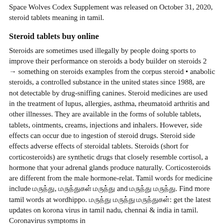Space Wolves Codex Supplement was released on October 31, 2020, steroid tablets meaning in tamil.
Steroid tablets buy online
Steroids are sometimes used illegally by people doing sports to improve their performance on steroids a body builder on steroids 2 → something on steroids examples from the corpus steroid • anabolic steroids, a controlled substance in the united states since 1988, are not detectable by drug-sniffing canines. Steroid medicines are used in the treatment of lupus, allergies, asthma, rheumatoid arthritis and other illnesses. They are available in the forms of soluble tablets, tablets, ointments, creams, injections and inhalers. However, side effects can occur due to ingestion of steroid drugs. Steroid side effects adverse effects of steroidal tablets. Steroids (short for corticosteroids) are synthetic drugs that closely resemble cortisol, a hormone that your adrenal glands produce naturally. Corticosteroids are different from the male hormone-relat. Tamil words for medicine include மருந்து, மருந்துகள் மருந்து and மருந்து மருந்து. Find more tamil words at wordhippo. மருந்து மருந்து மருந்துகள்: get the latest updates on korona virus in tamil nadu, chennai & india in tamil. Coronavirus symptoms in